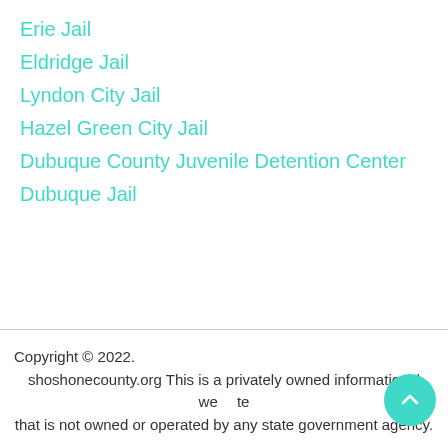Erie Jail
Eldridge Jail
Lyndon City Jail
Hazel Green City Jail
Dubuque County Juvenile Detention Center
Dubuque Jail
Copyright © 2022.
shoshonecounty.org This is a privately owned informational website that is not owned or operated by any state government agency.